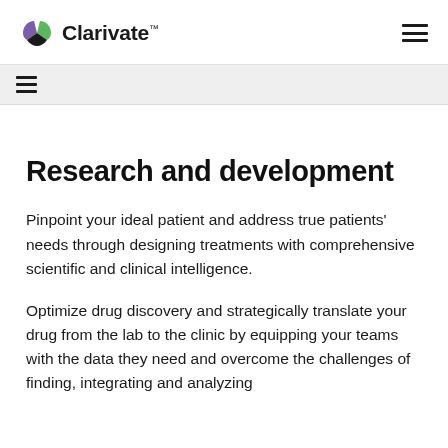Clarivate
Research and development
Pinpoint your ideal patient and address true patients' needs through designing treatments with comprehensive scientific and clinical intelligence.
Optimize drug discovery and strategically translate your drug from the lab to the clinic by equipping your teams with the data they need and overcome the challenges of finding, integrating and analyzing